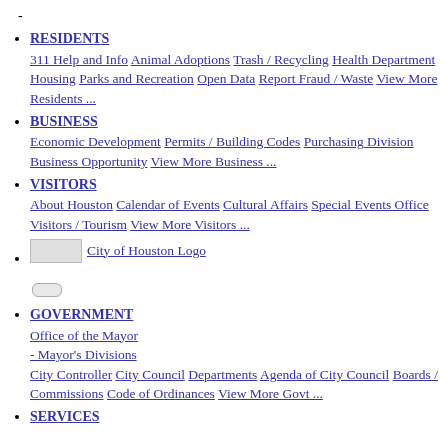-
RESIDENTS
311 Help and Info  Animal Adoptions  Trash / Recycling  Health Department  Housing  Parks and Recreation  Open Data  Report Fraud / Waste  View More Residents ...
BUSINESS
Economic Development  Permits / Building Codes  Purchasing Division  Business Opportunity  View More Business ...
VISITORS
About Houston  Calendar of Events  Cultural Affairs  Special Events Office  Visitors / Tourism  View More Visitors ...
City of Houston Logo
GOVERNMENT
Office of the Mayor
- Mayor's Divisions
City Controller  City Council  Departments  Agenda of City Council  Boards / Commissions  Code of Ordinances  View More Govt ...
SERVICES